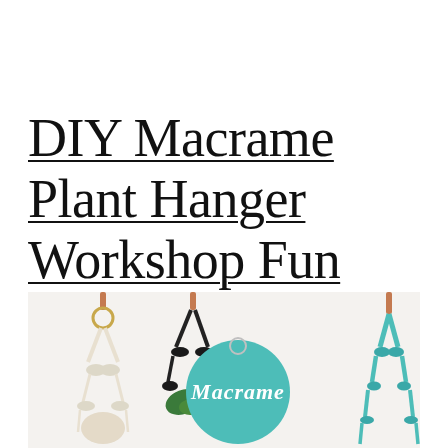DIY Macrame Plant Hanger Workshop Fun
[Figure (photo): Photo of macrame plant hangers: a cream/white knotted hanger with a gold ring, a black knotted hanger with a green plant, and a teal/turquoise knotted hanger, all suspended from copper or metal hooks. In the center is a large teal circular sign with white script text reading 'Macrame'.]